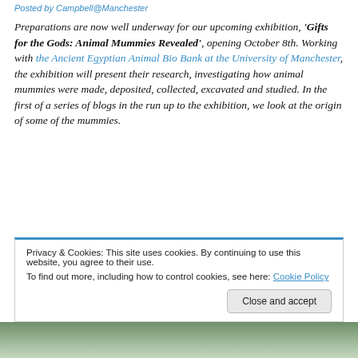Posted by Campbell@Manchester
Preparations are now well underway for our upcoming exhibition, ‘Gifts for the Gods: Animal Mummies Revealed’, opening October 8th. Working with the Ancient Egyptian Animal Bio Bank at the University of Manchester, the exhibition will present their research, investigating how animal mummies were made, deposited, collected, excavated and studied. In the first of a series of blogs in the run up to the exhibition, we look at the origin of some of the mummies.
Privacy & Cookies: This site uses cookies. By continuing to use this website, you agree to their use.
To find out more, including how to control cookies, see here: Cookie Policy
[Figure (photo): Bottom strip showing a nature/animal photograph, partially visible]